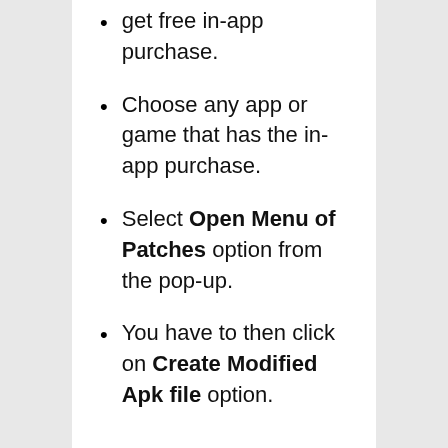get free in-app purchase.
Choose any app or game that has the in-app purchase.
Select Open Menu of Patches option from the pop-up.
You have to then click on Create Modified Apk file option.